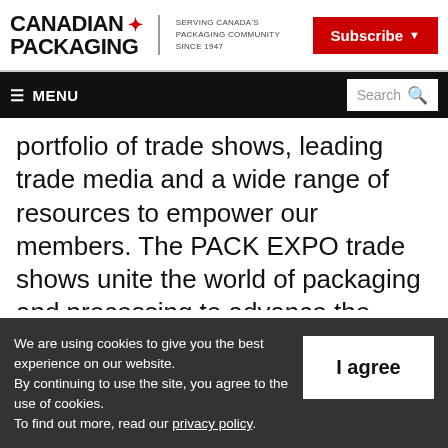CANADIAN PACKAGING — SERVING CANADA'S PACKAGING COMMUNITY SINCE 1947 | Subscribe
≡ MENU | Search
portfolio of trade shows, leading trade media and a wide range of resources to empower our members. The PACK EXPO trade shows unite the world of packaging and processing to advance the industries they serve: PACK EXPO International, PACK EXPO Las Vegas,
We are using cookies to give you the best experience on our website.
By continuing to use the site, you agree to the use of cookies.
To find out more, read our privacy policy.